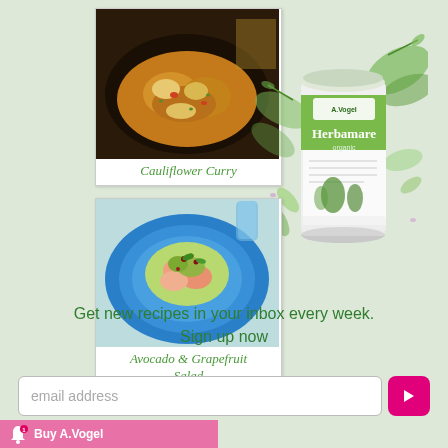[Figure (photo): Photo of cauliflower curry in a dark pan]
Cauliflower Curry
[Figure (photo): Herbamare product image with herb leaves]
[Figure (photo): Photo of avocado and grapefruit salad on a blue plate]
Avocado & Grapefruit Salad
Get new recipes in your inbox every week. Sign up now
email address
Buy A.Vogel